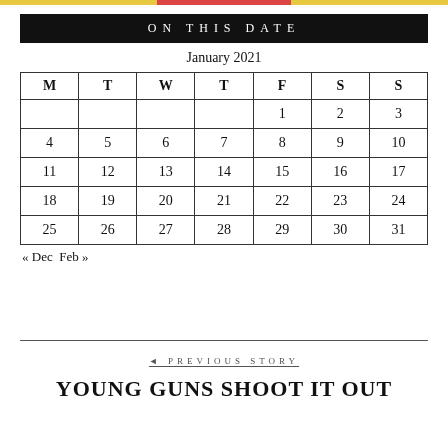ON THIS DATE
| M | T | W | T | F | S | S |
| --- | --- | --- | --- | --- | --- | --- |
|  |  |  |  | 1 | 2 | 3 |
| 4 | 5 | 6 | 7 | 8 | 9 | 10 |
| 11 | 12 | 13 | 14 | 15 | 16 | 17 |
| 18 | 19 | 20 | 21 | 22 | 23 | 24 |
| 25 | 26 | 27 | 28 | 29 | 30 | 31 |
« Dec  Feb »
◄ PREVIOUS STORY
YOUNG GUNS SHOOT IT OUT